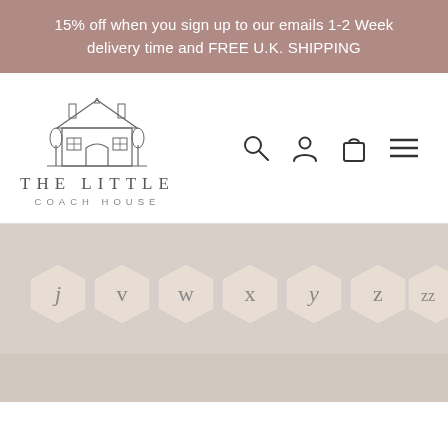15% off when you sign up to our emails 1-2 Week delivery time and FREE U.K. SHIPPING
[Figure (logo): The Little Coach House logo — line drawing of a house above the text THE LITTLE COACH HOUSE]
[Figure (photo): Product photo showing cream/white hexagonal ceramic alphabet tiles spelling out letters j, v, w, x, y, z, zz on a grey background]